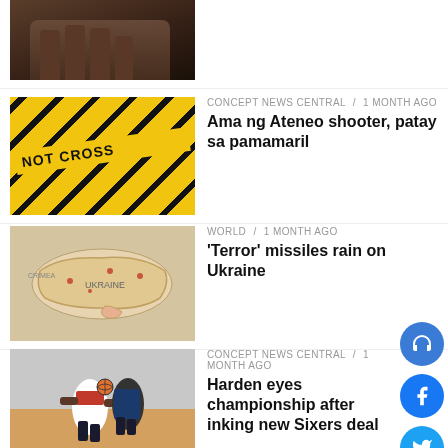[Figure (photo): Partial view of person's hands, dark skin, white clothing at top, cropped]
CONCEPT NEWS CENTRAL / 1 month ago
Ama ng Ateneo shooter, patay sa pamamaril
[Figure (photo): Crime scene yellow tape with NOT CROSS text]
WORLD / 1 month ago
'Terror' missiles rain on Ukraine
[Figure (photo): Map of Ukraine showing missile attack locations]
CONCEPT NEWS CENTRAL / 1 month ago
Harden eyes championship after inking new Sixers deal
[Figure (photo): Basketball players in action, player in red and white uniform]
CONCEPT NEWS CENTRAL / 1 month ago
Christine Bermas, matindi ang pasabog
[Figure (photo): Woman posing, fashion/lifestyle photo]
CONCEPT NEWS CENTRAL / 1 month ago